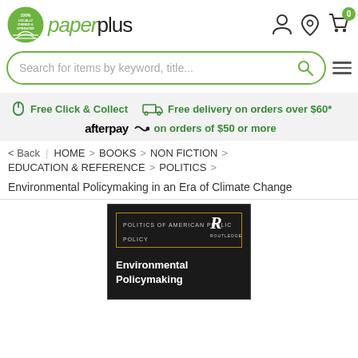[Figure (screenshot): Paper Plus website header with logo, navigation icons, search bar, promotional banner, breadcrumb navigation, and book product page for 'Environmental Policymaking in an Era of Climate Change']
Search for items by keyword, title...
Free Click & Collect   Free delivery on orders over $60*
afterpay on orders of $50 or more
< Back | HOME > BOOKS > NON FICTION >
EDUCATION & REFERENCE > POLITICS >
Environmental Policymaking in an Era of Climate Change
[Figure (photo): Book cover for 'Environmental Policymaking in an Era of Climate Change' - dark/black background with gold border text 'POLITICS OF AMERICAN PUBLIC POLICY', Routledge logo (R), and white bold title text 'Environmental Policymaking']